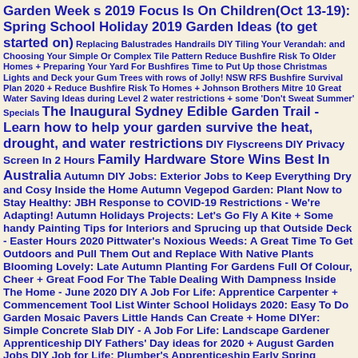Garden Week s 2019 Focus Is On Children(Oct 13-19): Spring School Holiday 2019 Garden Ideas (to get started on) Replacing Balustrades Handrails DIY Tiling Your Verandah: and Choosing Your Simple Or Complex Tile Pattern Reduce Bushfire Risk To Older Homes + Preparing Your Yard For Bushfires Time to Put Up those Christmas Lights and Deck your Gum Trees with rows of Jolly! NSW RFS Bushfire Survival Plan 2020 + Reduce Bushfire Risk To Homes + Johnson Brothers Mitre 10 Great Water Saving Ideas during Level 2 water restrictions + some 'Don't Sweat Summer' Specials The Inaugural Sydney Edible Garden Trail - Learn how to help your garden survive the heat, drought, and water restrictions DIY Flyscreens DIY Privacy Screen In 2 Hours Family Hardware Store Wins Best In Australia Autumn DIY Jobs: Exterior Jobs to Keep Everything Dry and Cosy Inside the Home Autumn Vegepod Garden: Plant Now to Stay Healthy: JBH Response to COVID-19 Restrictions - We're Adapting! Autumn Holidays Projects: Let's Go Fly A Kite + Some handy Painting Tips for Interiors and Sprucing up that Outside Deck - Easter Hours 2020 Pittwater's Noxious Weeds: A Great Time To Get Outdoors and Pull Them Out and Replace With Native Plants Blooming Lovely: Late Autumn Planting For Gardens Full Of Colour, Cheer + Great Food For The Table Dealing With Dampness Inside The Home - June 2020 DIY A Job For Life: Apprentice Carpenter + Commencement Tool List Winter School Holidays 2020: Easy To Do Garden Mosaic Pavers Little Hands Can Create + Home DIYer: Simple Concrete Slab DIY - A Job For Life: Landscape Gardener Apprenticeship DIY Fathers' Day ideas for 2020 + August Garden Jobs DIY Job for Life: Plumber's Apprenticeship Early Spring Garden Care Spring 2020 + Salad Garden For Children A Job For Life: